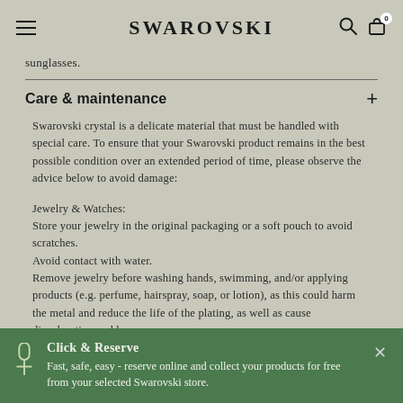SWAROVSKI
sunglasses.
Care & maintenance
Swarovski crystal is a delicate material that must be handled with special care. To ensure that your Swarovski product remains in the best possible condition over an extended period of time, please observe the advice below to avoid damage:
Jewelry & Watches:
Store your jewelry in the original packaging or a soft pouch to avoid scratches.
Avoid contact with water.
Remove jewelry before washing hands, swimming, and/or applying products (e.g. perfume, hairspray, soap, or lotion), as this could harm the metal and reduce the life of the plating, as well as cause discoloration and loss of crystal brilliance. Avoid prolonged contact/insolation…
Click & Reserve
Fast, safe, easy - reserve online and collect your products for free from your selected Swarovski store.